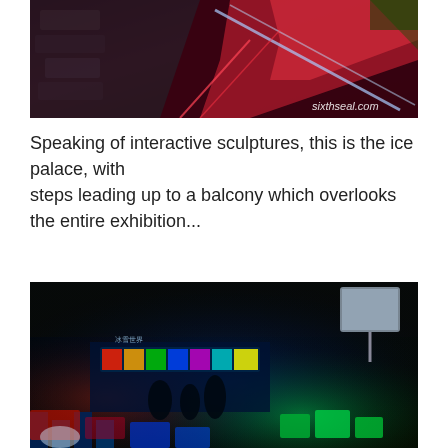[Figure (photo): Interior photo of an ice palace showing illuminated ice steps with red, blue and green lighting, and a staircase leading upward. Watermark 'sixthseal.com' visible in bottom right.]
Speaking of interactive sculptures, this is the ice palace, with steps leading up to a balcony which overlooks the entire exhibition...
[Figure (photo): Dark interior photo of an ice sculpture exhibition with colorful LED lighting (blue, green, red) illuminating ice structures and a crowd of visitors in the background.]